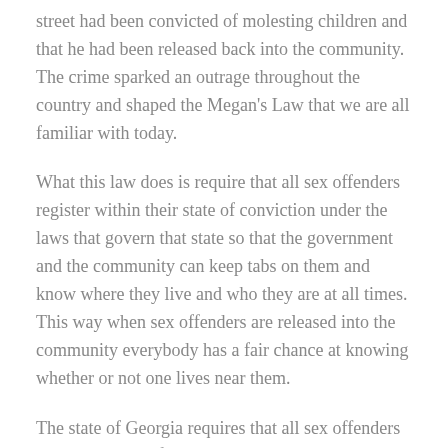street had been convicted of molesting children and that he had been released back into the community. The crime sparked an outrage throughout the country and shaped the Megan's Law that we are all familiar with today.
What this law does is require that all sex offenders register within their state of conviction under the laws that govern that state so that the government and the community can keep tabs on them and know where they live and who they are at all times. This way when sex offenders are released into the community everybody has a fair chance at knowing whether or not one lives near them.
The state of Georgia requires that all sex offenders that are released from jail or prison register with their local sheriff's office immediately. Sex offenders will have to continue to register and keep their information updated